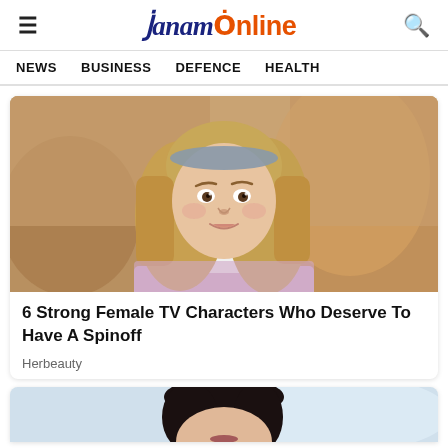≡  JanamOnline  🔍
NEWS  BUSINESS  DEFENCE  HEALTH
[Figure (photo): Young girl with shoulder-length blonde hair wearing a blue headband and a pink/lavender turtleneck top, looking upward slightly, in a warm indoor setting.]
6 Strong Female TV Characters Who Deserve To Have A Spinoff
Herbeauty
[Figure (photo): Partial view of a dark-haired woman, cropped at bottom of page.]